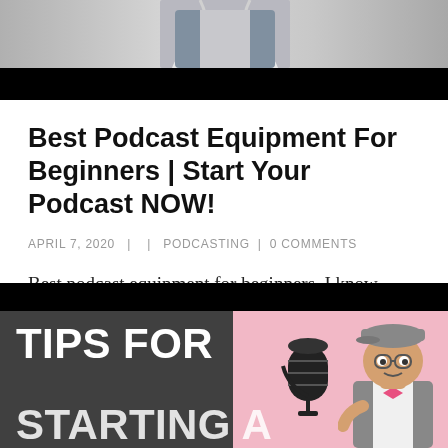[Figure (photo): Top portion of webpage showing a person holding a microphone, partially visible, with a dark banner overlay at the bottom of the image area.]
Best Podcast Equipment For Beginners | Start Your Podcast NOW!
APRIL 7, 2020  |    |  PODCASTING  |  0 COMMENTS
Best podcast equipment for beginners. I know when you are podcasting it can be rough to figure out what you should do and where you should start. That's why I created
[Figure (photo): Bottom promotional card with dark background on the left showing bold white text 'TIPS FOR STARTING A' and a pink background on the right showing a microphone illustration and a person in a newsboy cap and bow tie.]